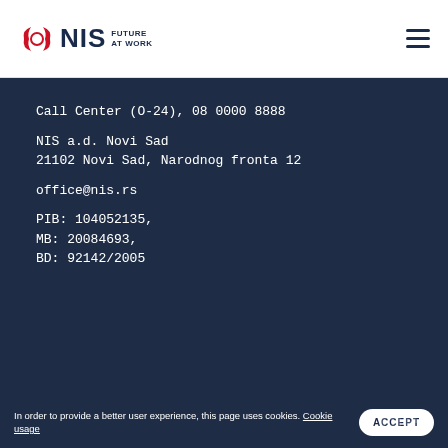NIS FUTURE AT WORK
Call Center (O-24), 08 0000 8888

NIS a.d. Novi Sad
21102 Novi Sad, Narodnog fronta 12

office@nis.rs

PIB: 104052135,
MB: 20084693,
BD: 92142/2005
In order to provide a better user experience, this page uses cookies. Cookie usage
ACCEPT